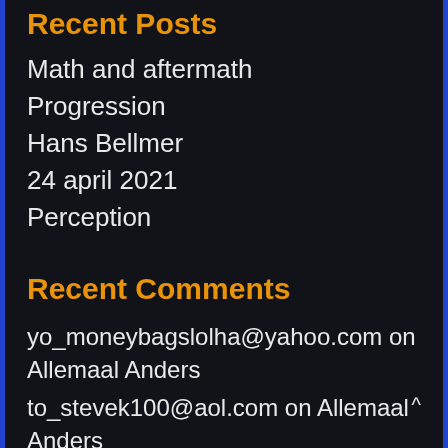Recent Posts
Math and aftermath
Progression
Hans Bellmer
24 april 2021
Perception
Recent Comments
yo_moneybagslolha@yahoo.com on Allemaal Anders
to_stevek100@aol.com on Allemaal Anders
hi_mener030573@yahoo.com on